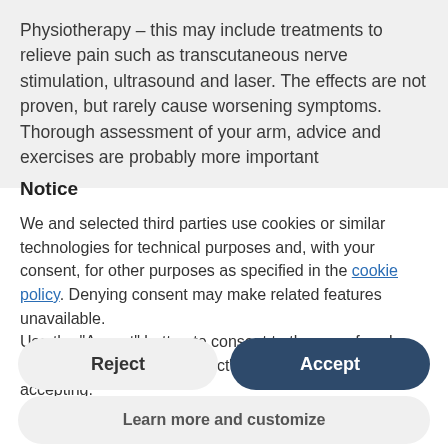Physiotherapy – this may include treatments to relieve pain such as transcutaneous nerve stimulation, ultrasound and laser. The effects are not proven, but rarely cause worsening symptoms. Thorough assessment of your arm, advice and exercises are probably more important
Notice
We and selected third parties use cookies or similar technologies for technical purposes and, with your consent, for other purposes as specified in the cookie policy. Denying consent may make related features unavailable.
Use the "Accept" button to consent to the use of such technologies. Use the "Reject" button to continue without accepting.